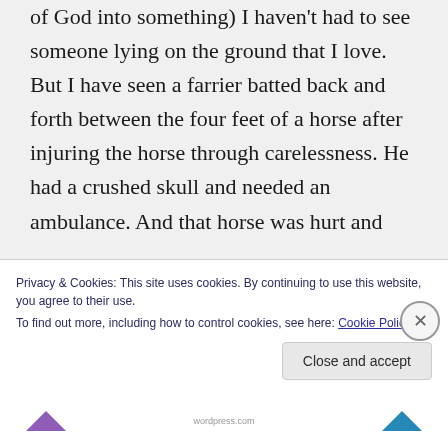of God into something) I haven't had to see someone lying on the ground that I love. But I have seen a farrier batted back and forth between the four feet of a horse after injuring the horse through carelessness. He had a crushed skull and needed an ambulance. And that horse was hurt and
Privacy & Cookies: This site uses cookies. By continuing to use this website, you agree to their use.
To find out more, including how to control cookies, see here: Cookie Policy
Close and accept